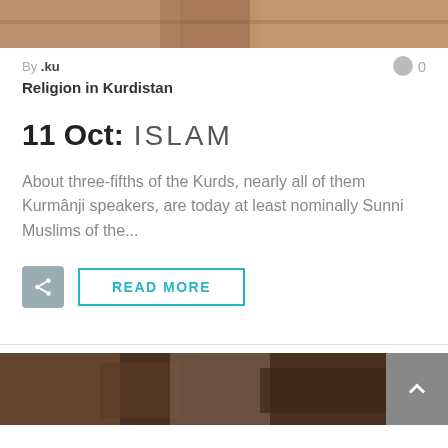[Figure (photo): Partial view of a photo at top of page, appears to show people in traditional clothing]
By .ku
0
Religion in Kurdistan
11 Oct: ISLAM
About three-fifths of the Kurds, nearly all of them Kurmânji speakers, are today at least nominally Sunni Muslims of the...
READ MORE
[Figure (photo): Partial view of a photo at bottom showing people in colorful traditional Kurdish clothing]